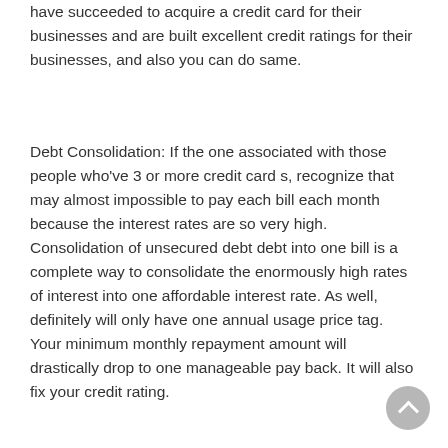have succeeded to acquire a credit card for their businesses and are built excellent credit ratings for their businesses, and also you can do same.
Debt Consolidation: If the one associated with those people who've 3 or more credit card s, recognize that may almost impossible to pay each bill each month because the interest rates are so very high. Consolidation of unsecured debt debt into one bill is a complete way to consolidate the enormously high rates of interest into one affordable interest rate. As well, definitely will only have one annual usage price tag. Your minimum monthly repayment amount will drastically drop to one manageable pay back. It will also fix your credit rating.